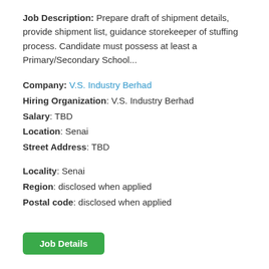Job Description: Prepare draft of shipment details, provide shipment list, guidance storekeeper of stuffing process. Candidate must possess at least a Primary/Secondary School...
Company: V.S. Industry Berhad
Hiring Organization: V.S. Industry Berhad
Salary: TBD
Location: Senai
Street Address: TBD
Locality: Senai
Region: disclosed when applied
Postal code: disclosed when applied
Job Details